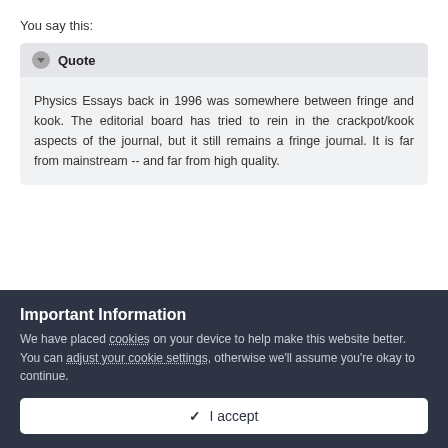You say this:
Physics Essays back in 1996 was somewhere between fringe and kook. The editorial board has tried to rein in the crackpot/kook aspects of the journal, but it still remains a fringe journal. It is far from mainstream -- and far from high quality.
Important Information
We have placed cookies on your device to help make this website better. You can adjust your cookie settings, otherwise we'll assume you're okay to continue.
✓  I accept